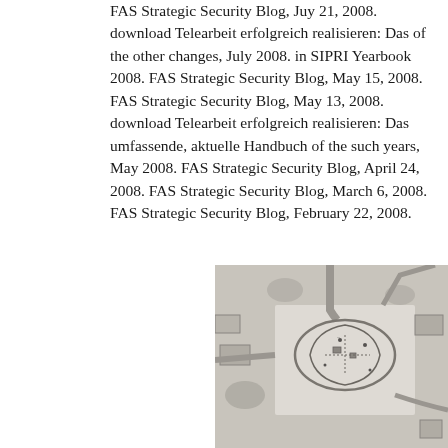FAS Strategic Security Blog, Juy 21, 2008. download Telearbeit erfolgreich realisieren: Das of the other changes, July 2008. in SIPRI Yearbook 2008. FAS Strategic Security Blog, May 15, 2008. FAS Strategic Security Blog, May 13, 2008. download Telearbeit erfolgreich realisieren: Das umfassende, aktuelle Handbuch of the such years, May 2008. FAS Strategic Security Blog, April 24, 2008. FAS Strategic Security Blog, March 6, 2008. FAS Strategic Security Blog, February 22, 2008.
[Figure (photo): Aerial satellite photograph showing a facility or compound with roads, buildings visible from above, in black and white / greyscale tones. Shows what appears to be a top-down view of an installation with a perimeter track or road layout visible in the center.]